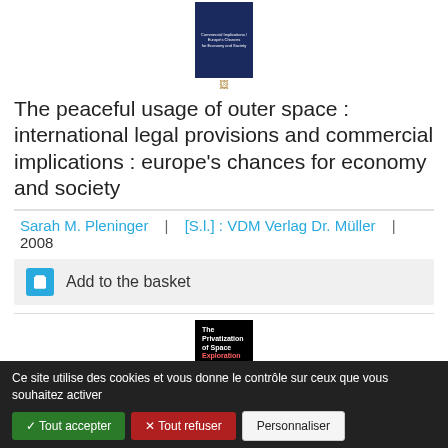[Figure (illustration): Book cover thumbnail for 'The peaceful usage of outer space' with dark blue background and white text]
The peaceful usage of outer space : international legal provisions and commercial implications : europe's chances for economy and society
Sarah M. Pleninger | [S.l.] : VDM Verlag Dr. Müller | 2008
Add to the basket
[Figure (illustration): Book cover thumbnail for 'The Privatization of Space Exploration' with dark/space background]
Ce site utilise des cookies et vous donne le contrôle sur ceux que vous souhaitez activer
✓ Tout accepter   ✕ Tout refuser   Personnaliser